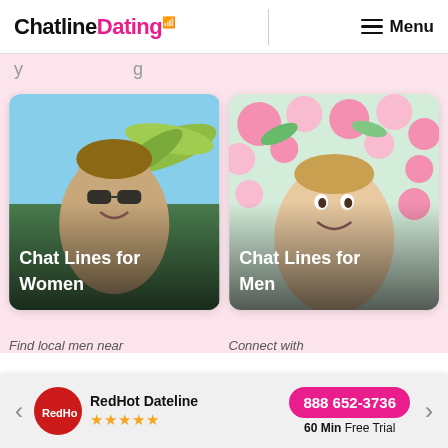ChatlineDating [logo] Menu
y ... g
[Figure (photo): Photo of a man with sunglasses smiling outdoors near palm trees, with overlay text 'Chat Lines for Women']
[Figure (photo): Photo of a smiling woman surrounded by pink flowers, with overlay text 'Chat Lines for Men']
Find local men near
Connect with
RedHot Dateline ★★★★★ 888 652-3736 60 Min Free Trial